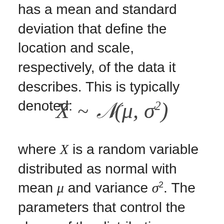has a mean and standard deviation that define the location and scale, respectively, of the data it describes. This is typically denoted:
where X is a random variable distributed as normal with mean μ and variance σ². The parameters that control the shape of the distribution are